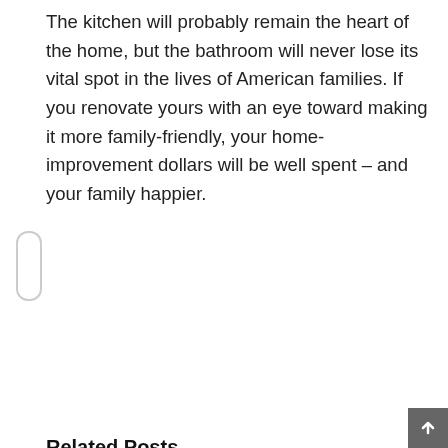The kitchen will probably remain the heart of the home, but the bathroom will never lose its vital spot in the lives of American families. If you renovate yours with an eye toward making it more family-friendly, your home-improvement dollars will be well spent – and your family happier.
[Figure (infographic): Social sharing buttons row: Facebook (blue, 'f' logo), Twitter (blue bird logo), Reddit (grey alien logo), Pinterest Save (red button with 'P' icon and 'Save' text), Email (grey envelope icon). Below: Tweet button (blue pill with bird). Below left: Pinterest Save button (red with 'P' icon).]
Related Posts
[Figure (photo): Partial photo of outdoor garden/patio scene visible at bottom left]
[Figure (photo): Light grey placeholder image at bottom right]